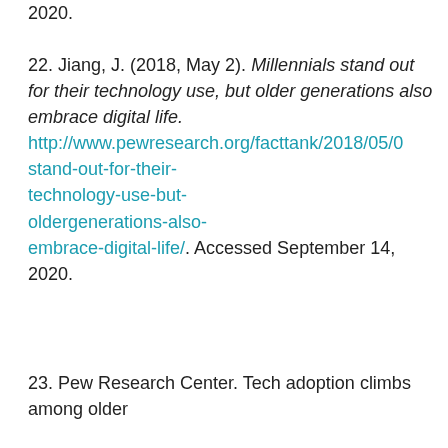Accessed September 14, 2020.
22. Jiang, J. (2018, May 2). Millennials stand out for their technology use, but older generations also embrace digital life. http://www.pewresearch.org/facttank/2018/05/0 stand-out-for-their-technology-use-but-oldergenerations-also-embrace-digital-life/. Accessed September 14, 2020.
23. Pew Research Center. Tech adoption climbs among older